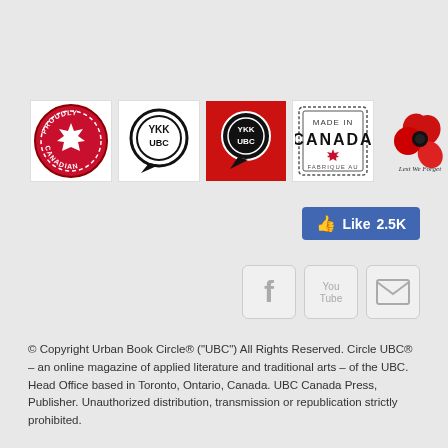[Figure (logo): Row of 5 logos: Proudly Canadian stamp, YKK UBC speech bubble logo, UBC speech bubble on red background, Made in Canada stamp, Lest We Forget poppy flower]
[Figure (screenshot): Facebook Like button showing 2.5K likes]
[Figure (screenshot): Social media icons: Facebook, YouTube, Email]
© Copyright Urban Book Circle® ("UBC") All Rights Reserved. Circle UBC® – an online magazine of applied literature and traditional arts – of the UBC. Head Office based in Toronto, Ontario, Canada. UBC Canada Press, Publisher. Unauthorized distribution, transmission or republication strictly prohibited.